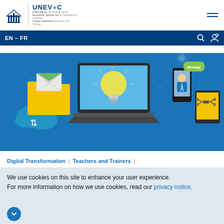[Figure (logo): UNESCO UNEVOC logo with UNESCO pillars icon and UNEVOC text, subtitle text for United Nations Educational Scientific and Cultural Organization and International Centre for Technical and Vocational Education and Training]
EN - FR
[Figure (illustration): Hero banner with blue background showing digital technology illustration: yellow folder with envelope, cloud with up-down arrows, laptop with glowing lightbulb, smartphone with person avatar and green message bubble, tablet with drone image]
Digital Transformation | Teachers and Trainers |
Digital Frameworks   Toolkits   Open Resources
ts for TVET providers
We use cookies on this site to enhance your user experience.
For more information on how we use cookies, read our privacy notice.